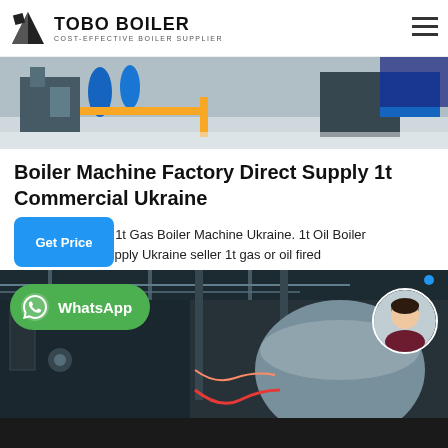TOBO BOILER | COST-EFFECTIVE BOILER SUPPLIER
[Figure (photo): Industrial boiler machinery with yellow and blue equipment in a factory setting]
Boiler Machine Factory Direct Supply 1t Commercial Ukraine
1t Gas Boiler Machine Ukraine. 1t Oil Boiler Factory Direct Supply Ukraine seller 1t gas or oil fired boiler thailand. WNS 1t 2t 3t 4t 6t 8t 10t natural gas light diesel oil fired steam boiler . smal machine for small industries packaged g…
[Figure (photo): Industrial boiler installation inside a building with pipes, hoses, and boiler tanks visible]